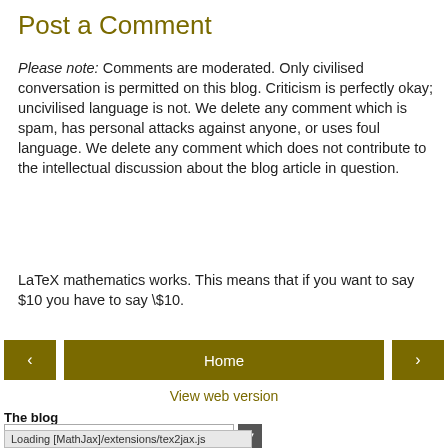Post a Comment
Please note: Comments are moderated. Only civilised conversation is permitted on this blog. Criticism is perfectly okay; uncivilised language is not. We delete any comment which is spam, has personal attacks against anyone, or uses foul language. We delete any comment which does not contribute to the intellectual discussion about the blog article in question.
LaTeX mathematics works. This means that if you want to say $10 you have to say \$10.
‹   Home   ›
View web version
The blog
Home
Loading [MathJax]/extensions/tex2jax.js